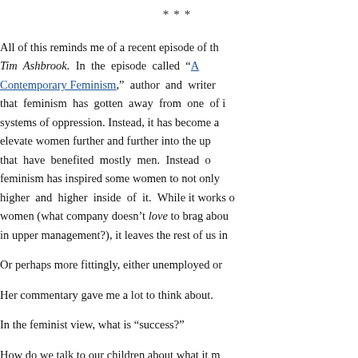***
All of this reminds me of a recent episode of the show hosted by Tim Ashbrook. In the episode called “A Contemporary Feminism,” author and writer argues that feminism has gotten away from one of its core goals: dismantling systems of oppression. Instead, it has become a movement focused on elevating women further and further into the upper echelons of systems that have benefited mostly men. Instead of dismantling those systems, feminism has inspired some women to not only join those systems but rise higher and higher inside of it. While it works out for a small number of women (what company doesn’t love to brag about having some women in upper management?), it leaves the rest of us in
Or perhaps more fittingly, either unemployed or
Her commentary gave me a lot to think about.
In the feminist view, what is “success?”
How do we talk to our children about what it m